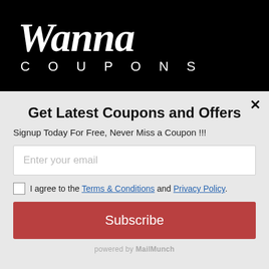[Figure (logo): Wanna Coupons logo — cursive 'Wanna' in white on black background with 'COUPONS' in spaced capitals beneath]
Get Latest Coupons and Offers
Signup Today For Free, Never Miss a Coupon !!!
Enter your email (input field placeholder)
I agree to the Terms & Conditions and Privacy Policy.
Subscribe
powered by MailMunch